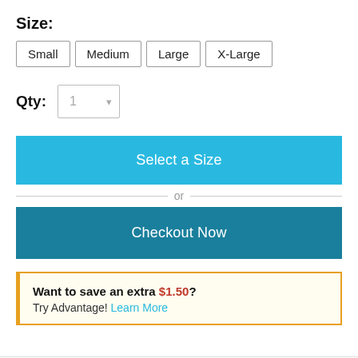Size:
Small
Medium
Large
X-Large
Qty: 1
Select a Size
or
Checkout Now
Want to save an extra $1.50? Try Advantage! Learn More